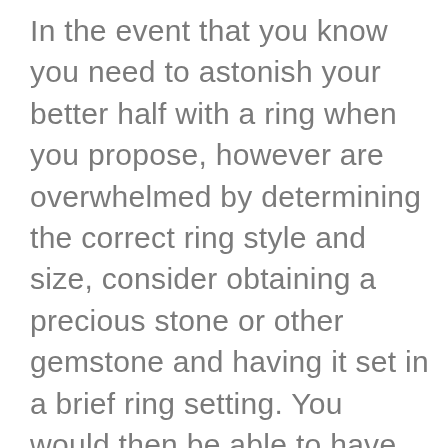In the event that you know you need to astonish your better half with a ring when you propose, however are overwhelmed by determining the correct ring style and size, consider obtaining a precious stone or other gemstone and having it set in a brief ring setting. You would then be able to have the gemstone re-set into a setting of her decision once you're locked in. We let individuals have a gemstone set into our exemplary 18k Gold 2mm Comfort Fit ring, at that point return it inside 60 days to have